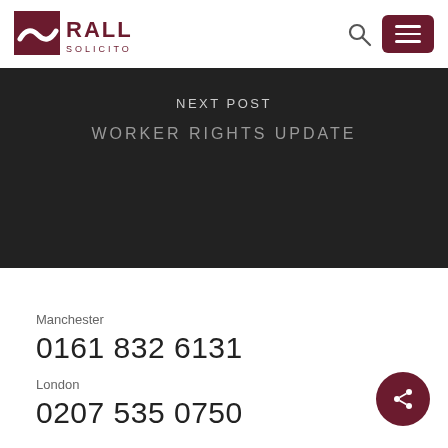[Figure (logo): Ralli Solicitors logo — dark red square with white wave/swoosh mark, next to bold dark red text RALLI and smaller text SOLICITORS]
NEXT POST
WORKER RIGHTS UPDATE
Manchester
0161 832 6131
London
0207 535 0750